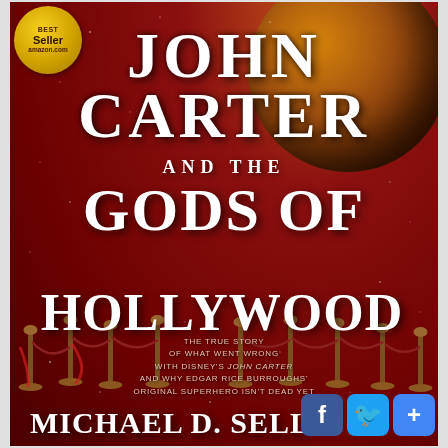[Figure (photo): Book cover for 'John Carter and the Gods of Hollywood' by Michael D. Sellers. Red starfield background with planet in upper right, golden 'Best Seller amazon.com' badge in upper left, red carpet stanchions in middle, white serif title text, subtitle text about Disney's John Carter film, and author name at bottom. Social media buttons (Facebook, Twitter, Google+) overlaid at bottom right.]